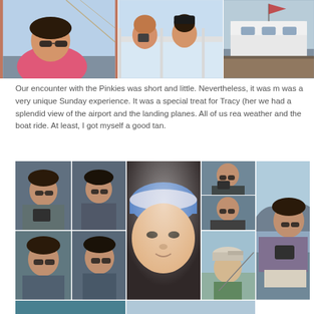[Figure (photo): Top photo collage showing three photos: a man in sunglasses and pink shirt on a boat, two children looking over a boat railing, and a view of a boat/yacht from behind at a marina.]
Our encounter with the Pinkies was short and little. Nevertheless, it was a very unique Sunday experience. It was a special treat for Tracy (her we had a splendid view of the airport and the landing planes. All of us rea weather and the boat ride. At least, I got myself a good tan.
[Figure (photo): Large bottom photo collage showing multiple photos of people on a boat trip, including men with cameras, close-up of person in hat, people relaxing on boat deck, two boys in caps, and a man sitting relaxed with sea and mountains in background.]